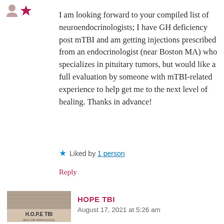[Figure (illustration): Two small avatar/icon shapes in the top-left corner (person silhouette icons)]
I am looking forward to your compiled list of neuroendocrinologists; I have GH deficiency post mTBI and am getting injections prescribed from an endocrinologist (near Boston MA) who specializes in pituitary tumors, but would like a full evaluation by someone with mTBI-related experience to help get me to the next level of healing. Thanks in advance!
★ Liked by 1 person
Reply
[Figure (illustration): HOPE TBI book cover thumbnail image]
HOPE TBI
August 17, 2021 at 5:26 am